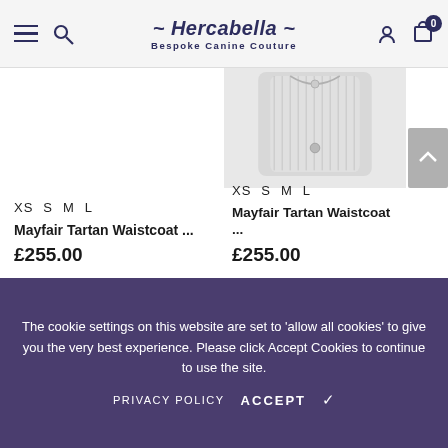Hercabella Bespoke Canine Couture
XS S M L
Mayfair Tartan Waistcoat ...
£255.00
[Figure (photo): White/light grey ribbed dog waistcoat garment on white background]
XS S M L
Mayfair Tartan Waistcoat ...
£255.00
The cookie settings on this website are set to 'allow all cookies' to give you the very best experience. Please click Accept Cookies to continue to use the site.
PRIVACY POLICY  ACCEPT ✔